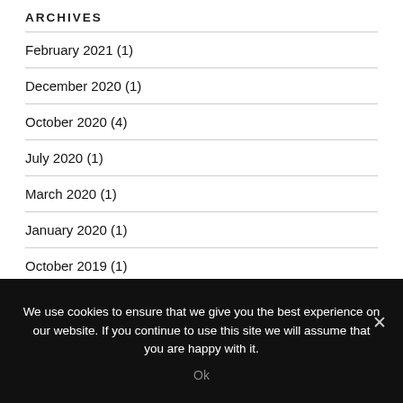ARCHIVES
February 2021 (1)
December 2020 (1)
October 2020 (4)
July 2020 (1)
March 2020 (1)
January 2020 (1)
October 2019 (1)
We use cookies to ensure that we give you the best experience on our website. If you continue to use this site we will assume that you are happy with it.
Ok